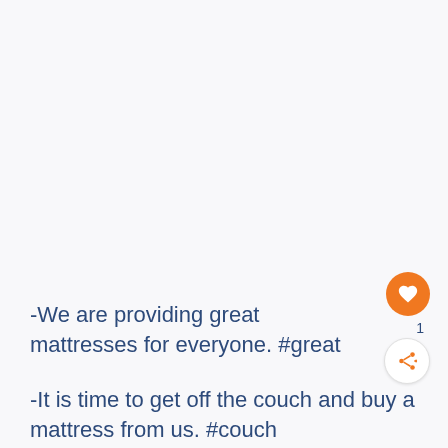-We are providing great mattresses for everyone. #great
-It is time to get off the couch and buy a mattress from us. #couch